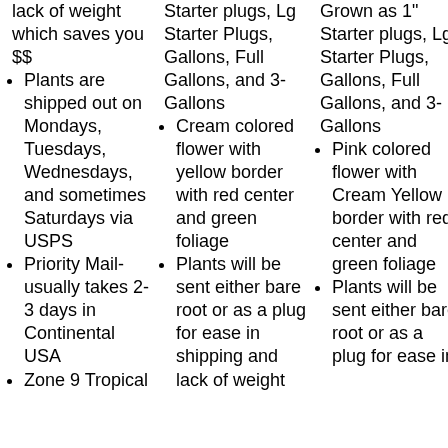lack of weight which saves you $$
Plants are shipped out on Mondays, Tuesdays, Wednesdays, and sometimes Saturdays via USPS
Priority Mail- usually takes 2-3 days in Continental USA
Zone 9 Tropical
Starter plugs, Lg Starter Plugs, Gallons, Full Gallons, and 3-Gallons
Cream colored flower with yellow border with red center and green foliage
Plants will be sent either bare root or as a plug for ease in shipping and lack of weight
Grown as 1" Starter plugs, Lg Starter Plugs, Gallons, Full Gallons, and 3-Gallons
Pink colored flower with Cream Yellow border with red center and green foliage
Plants will be sent either bare root or as a plug for ease in